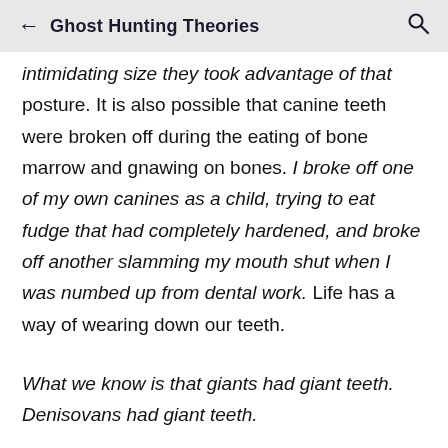← Ghost Hunting Theories 🔍
intimidating size they took advantage of that posture. It is also possible that canine teeth were broken off during the eating of bone marrow and gnawing on bones. I broke off one of my own canines as a child, trying to eat fudge that had completely hardened, and broke off another slamming my mouth shut when I was numbed up from dental work. Life has a way of wearing down our teeth.
What we know is that giants had giant teeth. Denisovans had giant teeth.